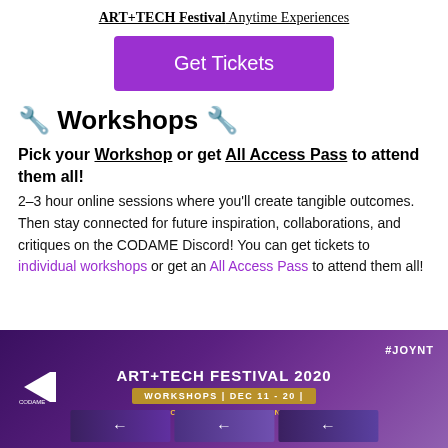ART+TECH Festival Anytime Experiences
[Figure (other): Purple 'Get Tickets' button]
🔧 Workshops 🔧
Pick your Workshop or get All Access Pass to attend them all!
2–3 hour online sessions where you'll create tangible outcomes. Then stay connected for future inspiration, collaborations, and critiques on the CODAME Discord! You can get tickets to individual workshops or get an All Access Pass to attend them all!
[Figure (infographic): ART+TECH FESTIVAL 2020 promotional banner with CODAME logo, workshops DEC 11-20, included in all access pass or as individual tickets, #JOYNT hashtag, and thumbnail images at bottom]